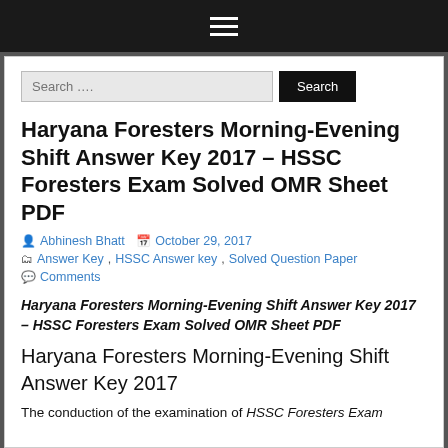≡ (hamburger menu icon)
Haryana Foresters Morning-Evening Shift Answer Key 2017 – HSSC Foresters Exam Solved OMR Sheet PDF
Abhinesh Bhatt  October 29, 2017
Answer Key, HSSC Answer key, Solved Question Paper
Comments
Haryana Foresters Morning-Evening Shift Answer Key 2017 – HSSC Foresters Exam Solved OMR Sheet PDF
Haryana Foresters Morning-Evening Shift Answer Key 2017
The conduction of the examination of HSSC Foresters Exam